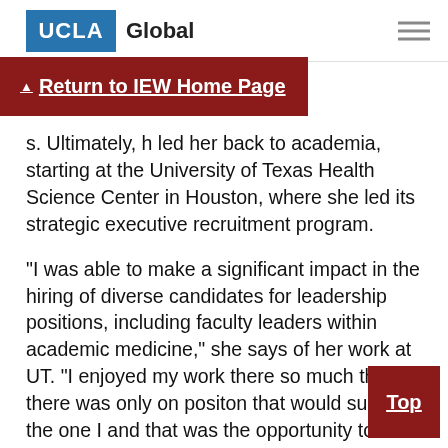UCLA Global
Return to IEW Home Page
s. Ultimately, h led her back to academia, starting at the University of Texas Health Science Center in Houston, where she led its strategic executive recruitment program.
“I was able to make a significant impact in the hiring of diverse candidates for leadership positions, including faculty leaders within academic medicine,” she says of her work at UT. “I enjoyed my work there so much that there was only on positon that would surpass the one I and that was the opportunity to lead a